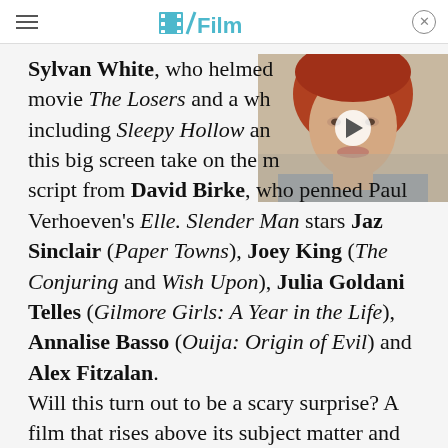/Film
Sylvan White, who helmed movie The Losers and a whole bunch of TV including Sleepy Hollow and others, is helming this big screen take on the myth. It's working from a script from David Birke, who penned Paul Verhoeven's Elle. Slender Man stars Jaz Sinclair (Paper Towns), Joey King (The Conjuring and Wish Upon), Julia Goldani Telles (Gilmore Girls: A Year in the Life), Annalise Basso (Ouija: Origin of Evil) and Alex Fitzalan.
[Figure (screenshot): Video thumbnail showing a young woman with red hair, with a white play button overlay]
Will this turn out to be a scary surprise? A film that rises above its subject matter and delivers genuine scares? Or will this be yet another loud-but-empty scream fest? We'll know for sure when Slender Man